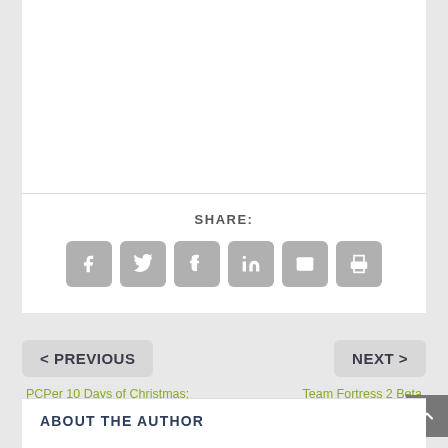SHARE:
[Figure (infographic): Row of 6 social share icon buttons: Facebook, Twitter, Tumblr, LinkedIn, Email, Print — gray rounded square buttons with white icons]
< PREVIOUS
NEXT >
PCPer 10 Days of Christmas: Day 10 – Netgear X6 AC3200 Router
Team Fortress 2 Beta Includes “Mannpower Mode”
ABOUT THE AUTHOR